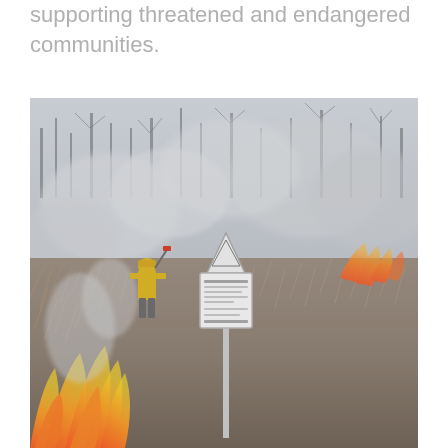supporting threatened and endangered communities.
[Figure (photo): A wildfire burning through dry grassland and scrub vegetation. A firefighter in yellow gear is visible on the left side amid smoke. A white informational sign on a post stands in the center of the scene. Orange flames and thick smoke fill the landscape.]